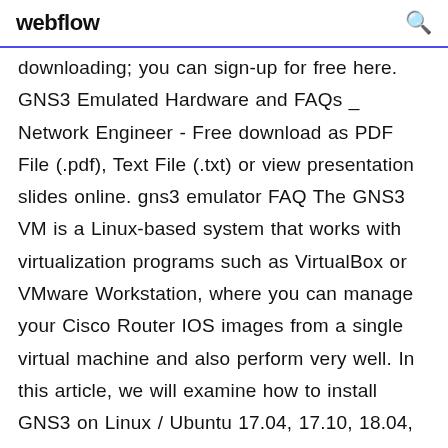webflow
downloading; you can sign-up for free here. GNS3 Emulated Hardware and FAQs _ Network Engineer - Free download as PDF File (.pdf), Text File (.txt) or view presentation slides online. gns3 emulator FAQ The GNS3 VM is a Linux-based system that works with virtualization programs such as VirtualBox or VMware Workstation, where you can manage your Cisco Router IOS images from a single virtual machine and also perform very well. In this article, we will examine how to install GNS3 on Linux / Ubuntu 17.04, 17.10, 18.04, 18.10, 19.04, and 19.10 systems. Podívejte se na Twitteru na tweety k tématu #bgphijacking. Přečtěte si, co říkají ostatní, a zapojte se do konverzace. Iou